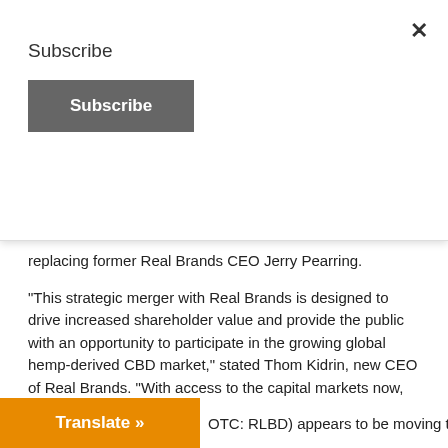Subscribe
Subscribe
replacing former Real Brands CEO Jerry Pearring.
“This strategic merger with Real Brands is designed to drive increased shareholder value and provide the public with an opportunity to participate in the growing global hemp-derived CBD market,” stated Thom Kidrin, new CEO of Real Brands. “With access to the capital markets now, we anticipate it will be easier and faster to fund our next phases of expected growth.”
The context for this announcement is a bit of a bid, with shares acting well over the past five days, up about 11% in that timeframe.
Translate »
OTC: RLBD) appears to be moving toward